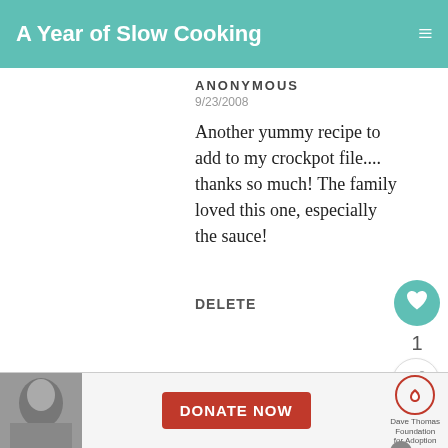A Year of Slow Cooking
ANONYMOUS
9/23/2008
Another yummy recipe to add to my crockpot file.... thanks so much! The family loved this one, especially the sauce!
DELETE
ANONYMOUS
11/30/2008
Wow, this is insanely good! I barely had the
[Figure (screenshot): Advertisement banner: Donate Now button with Dave Thomas Foundation for Adoption logo, with a close X button]
WHAT'S NEXT → Best Slow Cooker...